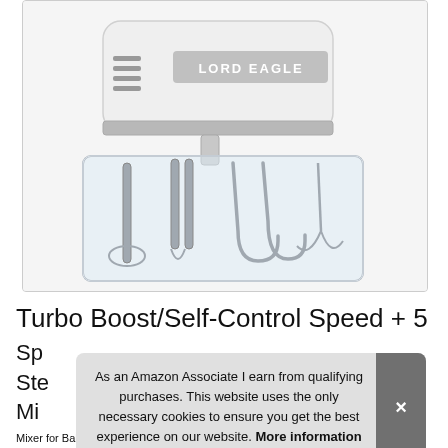[Figure (photo): A LORD EAGLE brand hand mixer shown in white/silver color, with multiple attachments (beaters, dough hooks, whisk) stored in a clear plastic storage case below the mixer body. The mixer body has ventilation slots and a silver label reading LORD EAGLE.]
Turbo Boost/Self-Control Speed + 5 Sp... Ste... Mi...
As an Amazon Associate I earn from qualifying purchases. This website uses the only necessary cookies to ensure you get the best experience on our website. More information